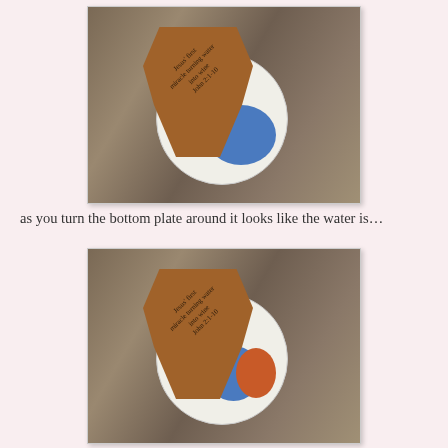[Figure (photo): Craft activity showing a paper plate with blue painted section and a brown construction paper water jug shape on top, viewed from above on a granite countertop. The jug has text about Jesus's first miracle turning water into wine, John 2:1-10.]
as you turn the bottom plate around it looks like the water is…
[Figure (photo): Second photo of the same craft activity showing the bottom plate rotated so that an orange/red section is now visible alongside the blue section, demonstrating the water turning to wine visual effect.]